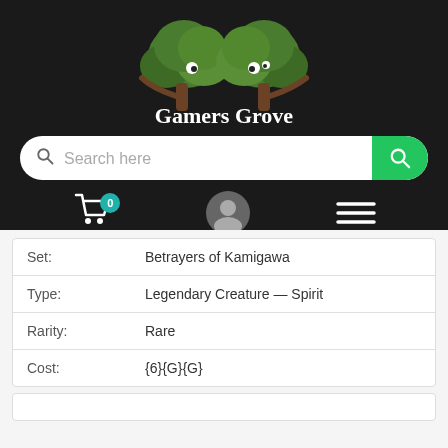[Figure (logo): Gamers Grove logo with two cartoon trees and the text 'Gamers Grove' in white serif font on a dark background]
Search here
| Field | Value |
| --- | --- |
| Set: | Betrayers of Kamigawa |
| Type: | Legendary Creature — Spirit |
| Rarity: | Rare |
| Cost: | {6}{G}{G} |